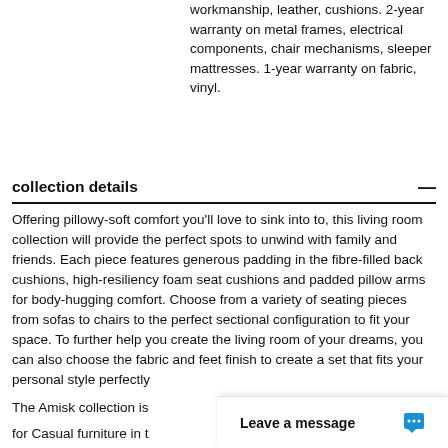workmanship, leather, cushions. 2-year warranty on metal frames, electrical components, chair mechanisms, sleeper mattresses. 1-year warranty on fabric, vinyl.
collection details
Offering pillowy-soft comfort you'll love to sink into to, this living room collection will provide the perfect spots to unwind with family and friends. Each piece features generous padding in the fibre-filled back cushions, high-resiliency foam seat cushions and padded pillow arms for body-hugging comfort. Choose from a variety of seating pieces from sofas to chairs to the perfect sectional configuration to fit your space. To further help you create the living room of your dreams, you can also choose the fabric and feet finish to create a set that fits your personal style perfectly.
The Amisk collection is
for Casual furniture in t